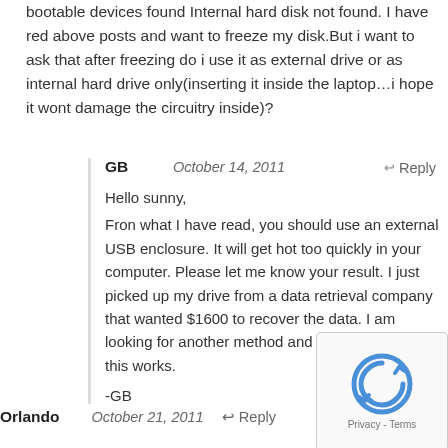bootable devices found Internal hard disk not found. I have red above posts and want to freeze my disk.But i want to ask that after freezing do i use it as external drive or as internal hard drive only(inserting it inside the laptop…i hope it wont damage the circuitry inside)?
GB · October 14, 2011 · Reply
Hello sunny,
Fron what I have read, you should use an external USB enclosure. It will get hot too quickly in your computer. Please let me know your result. I just picked up my drive from a data retrieval company that wanted $1600 to recover the data. I am looking for another method and want to know if this works.

-GB
Orlando · October 21, 2011 · Reply